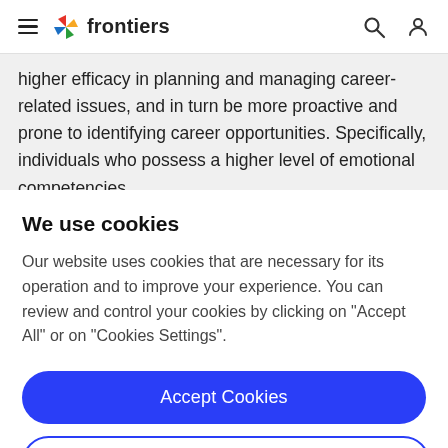frontiers
higher efficacy in planning and managing career-related issues, and in turn be more proactive and prone to identifying career opportunities. Specifically, individuals who possess a higher level of emotional competencies
We use cookies
Our website uses cookies that are necessary for its operation and to improve your experience. You can review and control your cookies by clicking on "Accept All" or on "Cookies Settings".
Accept Cookies
Cookies Settings